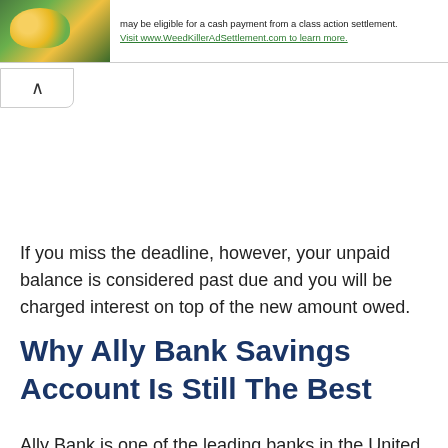[Figure (other): Banner advertisement for WeedKillerAdSettlement.com class action settlement with a plant/tree image on the left, text reading 'may be eligible for a cash payment from a class action settlement. Visit www.WeedKillerAdSettlement.com to learn more.']
If you miss the deadline, however, your unpaid balance is considered past due and you will be charged interest on top of the new amount owed.
Why Ally Bank Savings Account Is Still The Best
Ally Bank is one of the leading banks in the United States. It was founded in 1983 by John